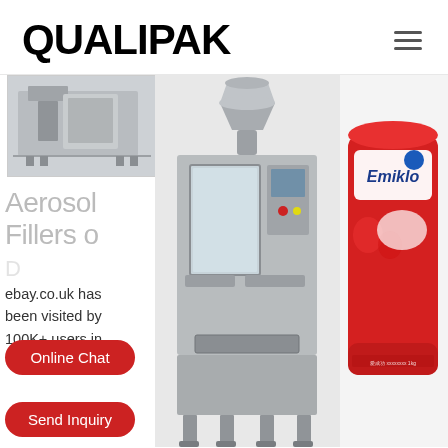QUALIPAK
[Figure (photo): Small thumbnail photo of a packaging machine component, metallic silver, partial view]
Aerosol Fillers o
ebay.co.uk has been visited by 100K+ users in
[Figure (photo): Large vertical form fill seal (VFFS) powder packaging machine with auger filler, stainless steel, industrial packaging equipment]
[Figure (photo): Red and white Emiklo branded milk powder bag product packaging]
Online Chat
Send Inquiry